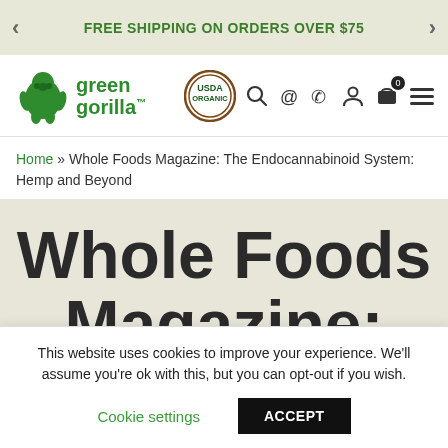FREE SHIPPING ON ORDERS OVER $75
[Figure (logo): Green Gorilla logo with green gorilla icon and green text reading 'green gorilla' with USDA Organic badge and navigation icons]
Home » Whole Foods Magazine: The Endocannabinoid System: Hemp and Beyond
Whole Foods Magazine: The
This website uses cookies to improve your experience. We'll assume you're ok with this, but you can opt-out if you wish.
Cookie settings   ACCEPT